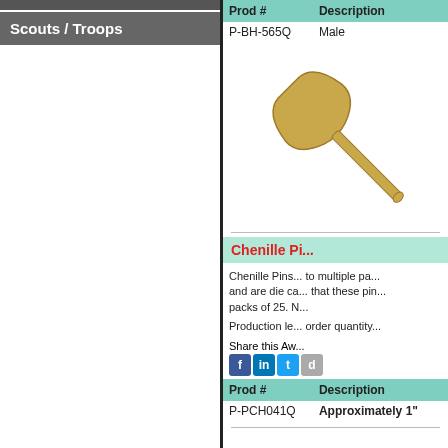Scouts / Troops
| Prod # | Description |
| --- | --- |
| P-BH-565Q | Male |
[Figure (photo): Gold metallic paddle/oar shaped chenille pin]
Chenille Pi...
Chenille Pins... to multiple pa... and are die ca... that these pin... packs of 25. N...
Production le... order quantity...
Share this Aw...
| Prod # | Description |
| --- | --- |
| P-PCH041Q | Approximately 1" |
[Figure (photo): Gold MVP letters chenille pin]
Chenille Pi...
Chenille Pins... to multiple pa... and are die ca... that these pin... packs of 25 o...